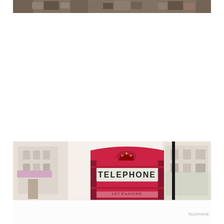[Figure (photo): Top strip of a photo showing a gravelly or rocky ground texture in muted brown and gray tones.]
[Figure (photo): A classic red British telephone box (BT Phone Box) with a crown emblem and 'TELEPHONE' sign on the front, photographed in an urban London street setting with blurred buildings in the background. The lower portion of the image shows a reflection of the phone box on a shiny white surface.]